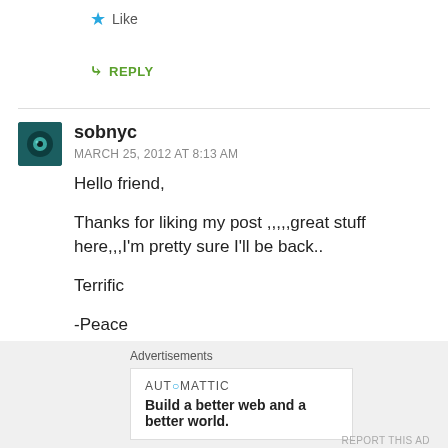★ Like
↳ REPLY
sobnyc
MARCH 25, 2012 AT 8:13 AM
Hello friend,

Thanks for liking my post ,,,,,great stuff here,,,I'm pretty sure I'll be back..

Terrific

-Peace
Advertisements
AUTOMATTIC
Build a better web and a better world.
REPORT THIS AD